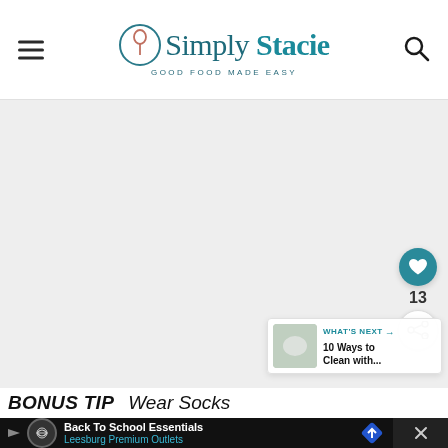Simply Stacie — Good Food Made Easy
[Figure (photo): Large light gray placeholder image area for a food blog article photo]
[Figure (infographic): What's Next panel showing a product thumbnail with text '10 Ways to Clean with...' and a heart/share button overlay]
BONUS TIP   Wear Socks
[Figure (screenshot): Advertisement bar: Back To School Essentials — Leesburg Premium Outlets]